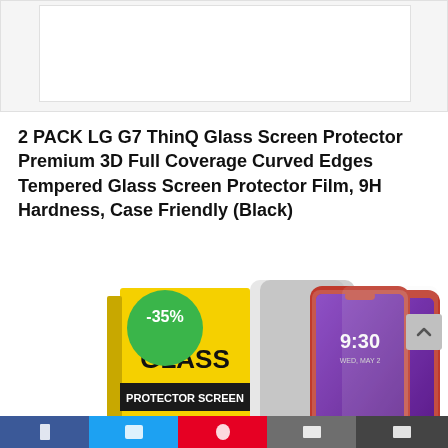[Figure (screenshot): Cropped top portion of a webpage showing a white content box with light gray border]
2 PACK LG G7 ThinQ Glass Screen Protector Premium 3D Full Coverage Curved Edges Tempered Glass Screen Protector Film, 9H Hardness, Case Friendly (Black)
[Figure (photo): Product image showing a 2-pack LG G7 ThinQ glass screen protector with yellow packaging labeled GLASS PROTECTOR SCREEN, -35% discount badge in green circle, and two LG G7 ThinQ phones with screen protectors applied showing 9:30 time display]